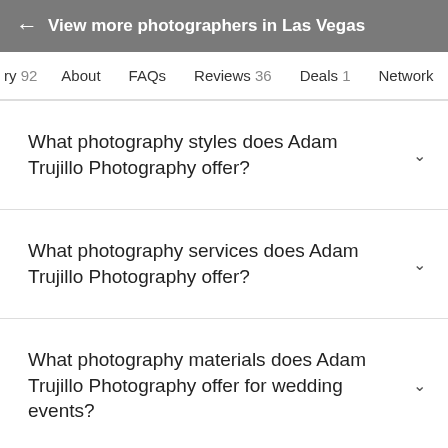← View more photographers in Las Vegas
ry 92   About   FAQs   Reviews 36   Deals 1   Network
What photography styles does Adam Trujillo Photography offer?
What photography services does Adam Trujillo Photography offer?
What photography materials does Adam Trujillo Photography offer for wedding events?